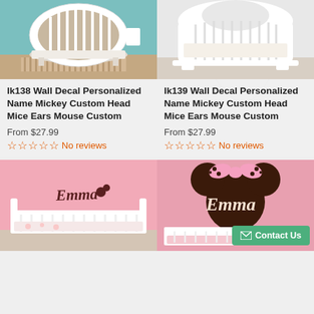[Figure (photo): Photo of a round white crib in a nursery with teal walls and striped rug]
[Figure (photo): Photo of a white modern crib with circular headboard against a light background]
lk138 Wall Decal Personalized Name Mickey Custom Head Mice Ears Mouse Custom
From $27.99
No reviews
lk139 Wall Decal Personalized Name Mickey Custom Head Mice Ears Mouse Custom
From $27.99
No reviews
[Figure (photo): Photo of a pink nursery room with 'Emma' wall decal with Mickey Mouse ears and a white crib]
[Figure (photo): Photo of a pink wall with large 'Emma' Minnie Mouse head wall decal above a white crib with pink bedding]